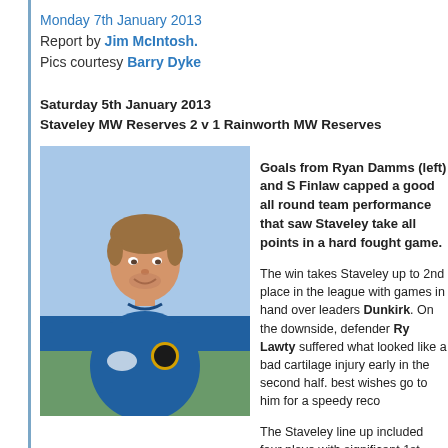Monday 7th January 2013
Report by Jim McIntosh.
Pics courtesy Barry Dyke
Saturday 5th January 2013
Staveley MW Reserves 2 v 1 Rainworth MW Reserves
[Figure (photo): Portrait photo of a male football player wearing a blue Staveley MW kit, smiling at the camera, outdoors.]
Goals from Ryan Damms (left) and S Finlaw capped a good all round team performance that saw Staveley take all points in a hard fought game. The win takes Staveley up to 2nd place in the league with games in hand over leaders Dunkirk. On the downside, defender Ry Lawty suffered what looked like a bad cartilage injury early in the second half. best wishes go to him for a speedy reco The Staveley line up included four playe with significant 1st team experience and Ryan Damms and Chris Coy showed t they held the ball up well, enabling the h side to dominate possession.
The first chance fell to Damms on 3 minutes after a run and cross by the impressive Brad Jones but he shot wide. Damms made amends on 15 mi when he opened the scoring with a simple chance after being set up by Sa